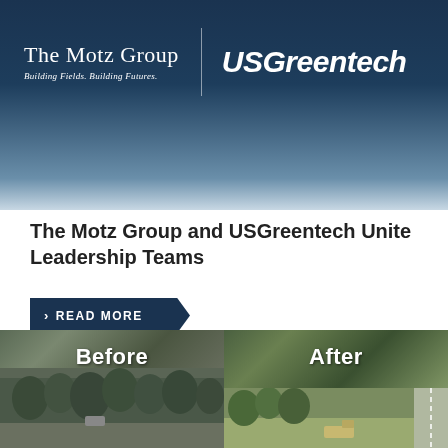[Figure (logo): The Motz Group logo with tagline 'Building Fields. Building Futures.' and USGreentech logo, on a dark blue to light blue gradient banner background]
The Motz Group and USGreentech Unite Leadership Teams
READ MORE
[Figure (photo): Before and After comparison photos showing a wooded site before construction and a cleared/graded site after construction]